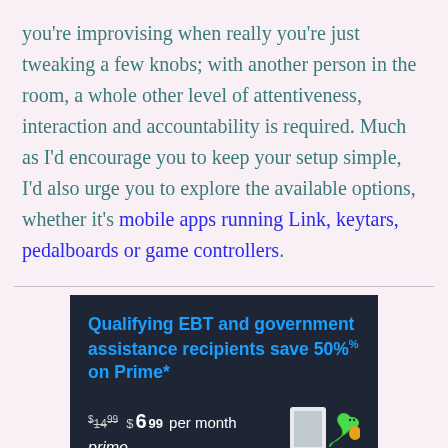you're improvising when really you're just tweaking a few knobs; with another person in the room, a whole other level of attentiveness, interaction and accountability is required. Much as I'd encourage you to keep your setup simple, I'd also urge you to explore the available options, whether it's mobile apps running Link, keytars, pedalboards or game controllers.
[Figure (infographic): Amazon Prime advertisement with dark background. Text: 'Qualifying EBT and government assistance recipients save 50% on Prime*'. Price shown as $14.99 struck through, then $6.99 per month. Word 'prime' shown at bottom left with decorative snake/ribbon graphic at right.]